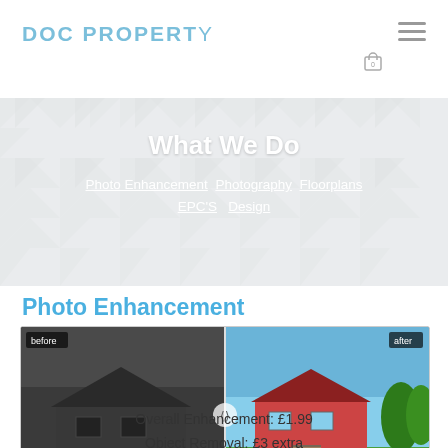DOC PROPERTY
What We Do
Photo Enhancement · Photography · Floorplans · EPC'S · Design
Photo Enhancement
[Figure (photo): Before and after comparison of a house exterior: left side is dark/dull, right side is bright and color-enhanced with lush green lawn and blue sky]
Overall Enhancement: £1.99
Object Removal: £3 extra